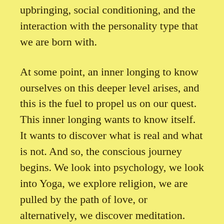upbringing, social conditioning, and the interaction with the personality type that we are born with.
At some point, an inner longing to know ourselves on this deeper level arises, and this is the fuel to propel us on our quest. This inner longing wants to know itself. It wants to discover what is real and what is not. And so, the conscious journey begins. We look into psychology, we look into Yoga, we explore religion, we are pulled by the path of love, or alternatively, we discover meditation.
We can call meditation the conscious movement into the center. Meditation begins with a sort of will. It begins with a desire t...